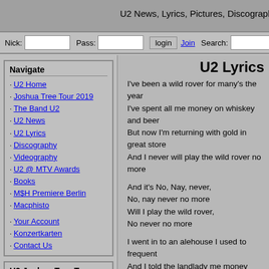U2 News, Lyrics, Pictures, Discography, V
Nick: [input] Pass: [input] login Join Search: [input]
Navigate
· U2 Home
· Joshua Tree Tour 2019
· The Band U2
· U2 News
· U2 Lyrics
· Discography
· Videography
· U2 @ MTV Awards
· Books
· M$H Premiere Berlin
· Macphisto
· Your Account
· Konzertkarten
· Contact Us
U2 Joshua Tree Tour 2019
· Looking Through the Window: San Diego, 1981
· U2's Mumbai setlist, 15/12/19
· U2's Manila setlist and videos, 11/12/19
U2 Lyrics
I've been a wild rover for many's the year
I've spent all me money on whiskey and beer
But now I'm returning with gold in great store
And I never will play the wild rover no more
And it's No, Nay, never,
No, nay never no more
Will I play the wild rover,
No never no more
I went in to an alehouse I used to frequent
And I told the landlady me money was spent
I asked her for credit, she answered me nay
Such a customer as you I can have any day
And it's No, Nay, never,
No, nay never no more
Will I play the wild rover,
No never no more
I took up from my pocket, ten sovereigns bright
And the landlady's eyes opened wide with delight
She says "I have whiskeys and wines of the best
And the words that you told me were only in jest"
And it's No, Nay, never,
No, nay never no more
Will I play the wild rover,